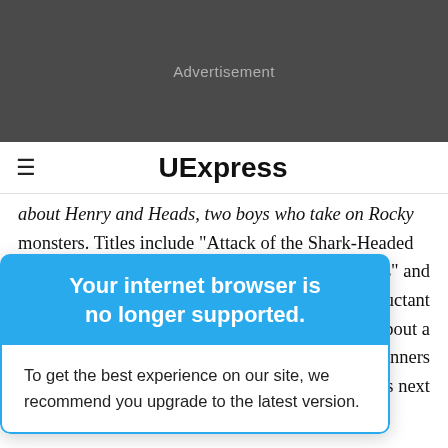[Figure (other): Advertisement banner area with dark gray background]
UExpress
about Henry and Heads, two boys who take on Rocky monsters. Titles include "Attack of the Shark-Headed
t Slugs" and at for reluctant eries about a e Prizewinners ebuts next month.
Your internet browser is no longer supported.
To get the best experience on our site, we recommend you upgrade to the latest version.